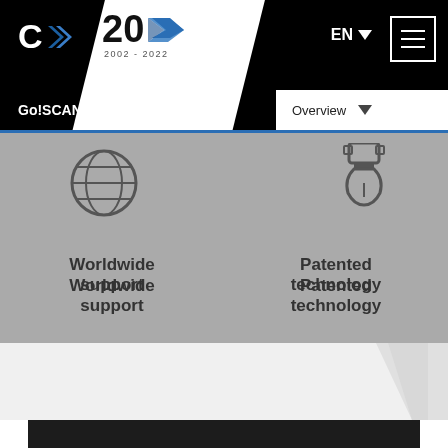Go!SCAN 3D | Overview | EN
[Figure (logo): Creaform C> logo in white on black navigation bar]
[Figure (logo): 20 years anniversary badge 2002-2022 with blue arrow icon on white diagonal ribbon]
EN
[Figure (illustration): Hamburger menu icon (three horizontal lines) in white bordered square]
Go!SCAN 3D
Overview
[Figure (illustration): Globe/worldwide support icon in dark gray]
Worldwide support
[Figure (illustration): Patent/shield icon in dark gray]
Patented technology